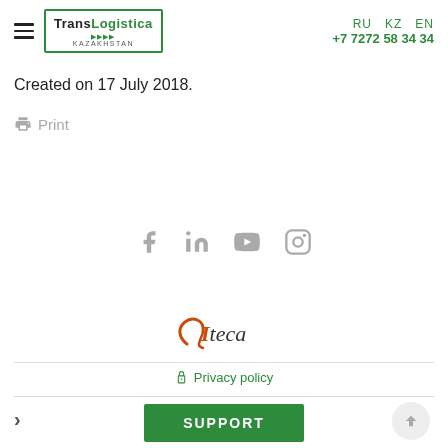TransLogistica KAZAKHSTAN | RU KZ EN | +7 7272 58 34 34
Created on 17 July 2018.
Print
[Figure (infographic): Social media icons: Facebook, LinkedIn, YouTube, Instagram in gray]
[Figure (logo): ITECA logo with orange swirl design]
Privacy policy
SUPPORT